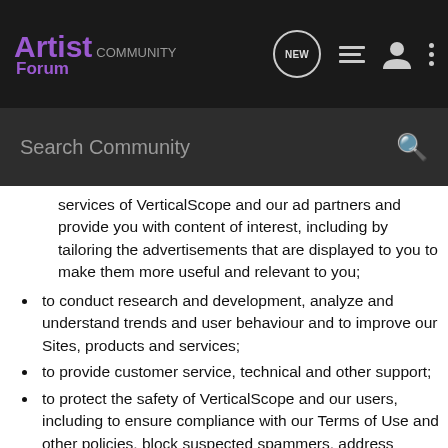Artist Forum — NEW
Search Community
services of VerticalScope and our ad partners and provide you with content of interest, including by tailoring the advertisements that are displayed to you to make them more useful and relevant to you;
to conduct research and development, analyze and understand trends and user behaviour and to improve our Sites, products and services;
to provide customer service, technical and other support;
to protect the safety of VerticalScope and our users, including to ensure compliance with our Terms of Use and other policies, block suspected spammers, address abuse, and detect and prevent fraud;
to provide you with newsletters, information, promotional offers and other advertising about us or our advertising partners;